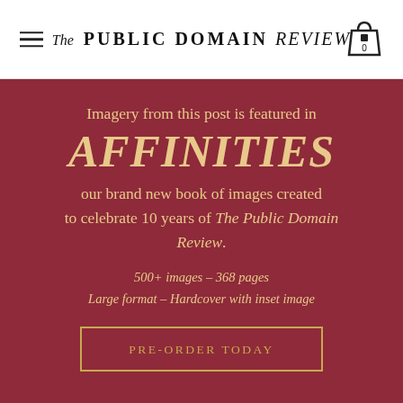The PUBLIC DOMAIN REVIEW
Imagery from this post is featured in AFFINITIES our brand new book of images created to celebrate 10 years of The Public Domain Review. 500+ images – 368 pages Large format – Hardcover with inset image
PRE-ORDER TODAY